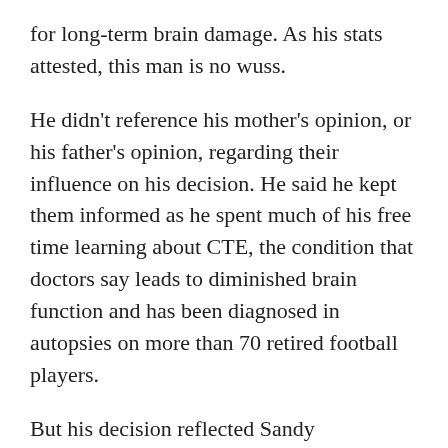for long-term brain damage. As his stats attested, this man is no wuss.
He didn't reference his mother's opinion, or his father's opinion, regarding their influence on his decision. He said he kept them informed as he spent much of his free time learning about CTE, the condition that doctors say leads to diminished brain function and has been diagnosed in autopsies on more than 70 retired football players.
But his decision reflected Sandy Ellenbogen's five-year-old forecast of trouble from the mothers of football-lusting sons. As we saw Monday, one of those young men absorbed the message.
Despite her husband's best efforts — the committee's conclusions in midseason 2010 caused unprecedented